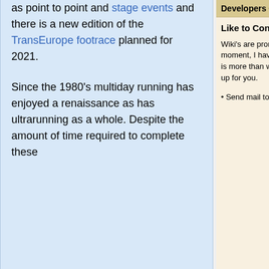as point to point and stage events and there is a new edition of the TransEurope footrace planned for 2021.
Since the 1980's multiday running has enjoyed a renaissance as has ultrarunning as a whole. Despite the amount of time required to complete these
Developers Co
Like to Contrib
Wiki's are prone to moment, I have ha is more than welco up for you.
Send mail to: m